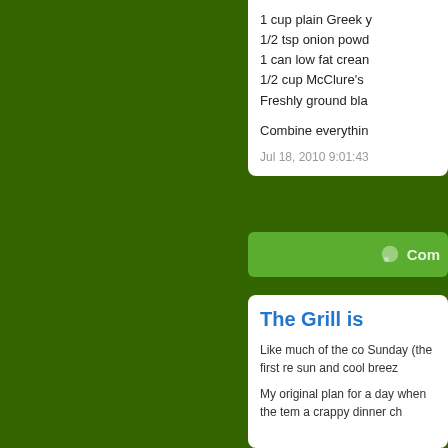1 cup plain Greek y
1/2 tsp onion powd
1 can low fat crean
1/2 cup McClure's
Freshly ground bla
Combine everythin
Jul 18, 2010 9:01:43
Com
The Grill is
Like much of the co Sunday (the first re sun and cool breez
My original plan for a day when the tem a crappy dinner ch